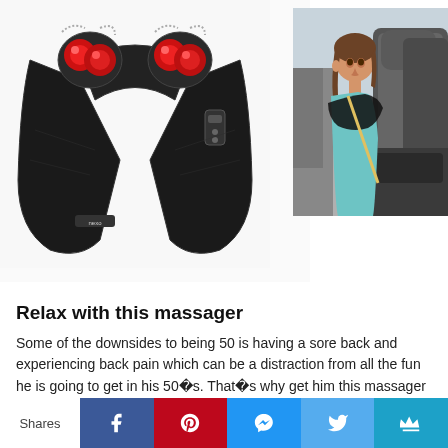[Figure (photo): Neck and shoulder shiatsu massager device shown flat, black padded with red glowing massage nodes on top, brand logo visible]
[Figure (photo): Young woman in car wearing the neck massager while sitting in passenger seat]
Relax with this massager
Some of the downsides to being 50 is having a sore back and experiencing back pain which can be a distraction from all the fun he is going to get in his 50�s. That�s why get him this massager and it will change his life completely.
Shares | Facebook | Pinterest | Messenger | Twitter | Crown